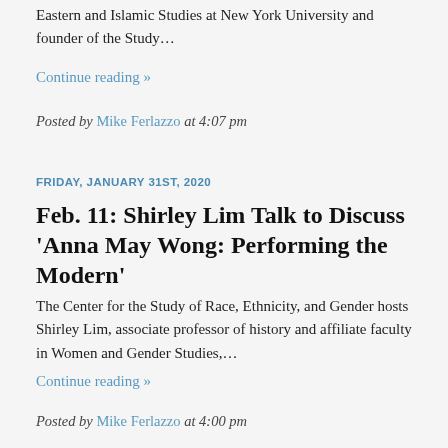Eastern and Islamic Studies at New York University and founder of the Study…
Continue reading »
Posted by Mike Ferlazzo at 4:07 pm
FRIDAY, JANUARY 31ST, 2020
Feb. 11: Shirley Lim Talk to Discuss 'Anna May Wong: Performing the Modern'
The Center for the Study of Race, Ethnicity, and Gender hosts Shirley Lim, associate professor of history and affiliate faculty in Women and Gender Studies,…
Continue reading »
Posted by Mike Ferlazzo at 4:00 pm